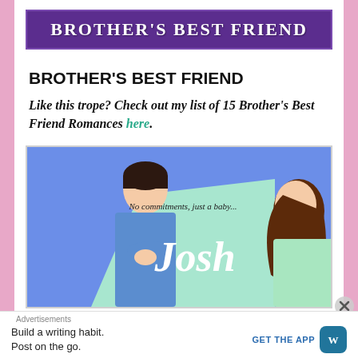[Figure (logo): Purple banner with 'BROTHER'S BEST FRIEND' text in white bold serif font on textured purple background]
BROTHER'S BEST FRIEND
Like this trope? Check out my list of 15 Brother's Best Friend Romances here.
[Figure (illustration): Book cover illustration showing a man with dark hair on the left and a woman with brown hair on the right against a blue background with mint green geometric shape, text reads 'No commitments, just a baby...' and 'Josh' in script]
Advertisements
Build a writing habit. Post on the go.